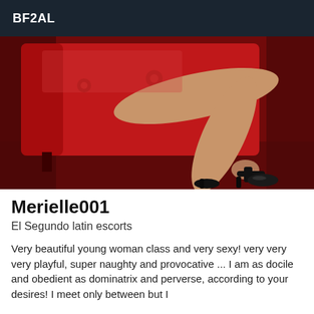BF2AL
[Figure (photo): Photo of woman's legs crossed, wearing black high-heeled sandals, seated on a red velvet tufted ottoman/sofa, with a red carpet background]
Merielle001
El Segundo latin escorts
Very beautiful young woman class and very sexy! very very very playful, super naughty and provocative ... I am as docile and obedient as dominatrix and perverse, according to your desires! I meet only between but I